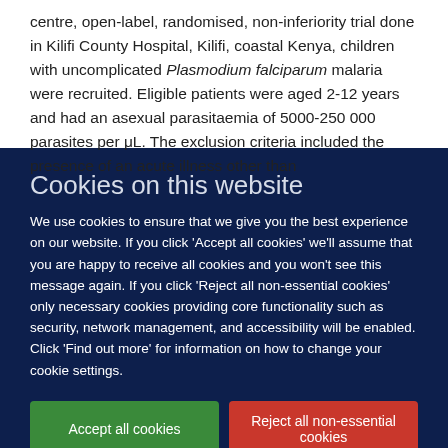centre, open-label, randomised, non-inferiority trial done in Kilifi County Hospital, Kilifi, coastal Kenya, children with uncomplicated Plasmodium falciparum malaria were recruited. Eligible patients were aged 2-12 years and had an asexual parasitaemia of 5000-250 000 parasites per μL. The exclusion criteria included the presence of an acute illness other than
Cookies on this website
We use cookies to ensure that we give you the best experience on our website. If you click 'Accept all cookies' we'll assume that you are happy to receive all cookies and you won't see this message again. If you click 'Reject all non-essential cookies' only necessary cookies providing core functionality such as security, network management, and accessibility will be enabled. Click 'Find out more' for information on how to change your cookie settings.
Accept all cookies
Reject all non-essential cookies